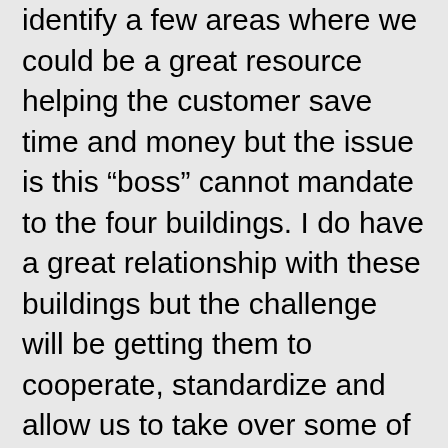identify a few areas where we could be a great resource helping the customer save time and money but the issue is this “boss” cannot mandate to the four buildings. I do have a great relationship with these buildings but the challenge will be getting them to cooperate, standardize and allow us to take over some of their existing business. The weather is uncharacteristically cold and wet. A perfect opportunity to clear out a bit of the administration/follow up work which I have just completed.

Today is also Friday yet working from home I